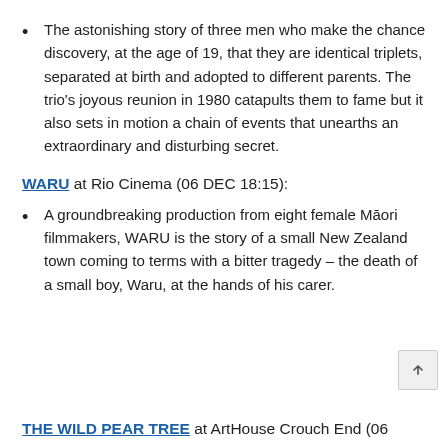The astonishing story of three men who make the chance discovery, at the age of 19, that they are identical triplets, separated at birth and adopted to different parents. The trio's joyous reunion in 1980 catapults them to fame but it also sets in motion a chain of events that unearths an extraordinary and disturbing secret.
WARU at Rio Cinema (06 DEC 18:15):
A groundbreaking production from eight female Māori filmmakers, WARU is the story of a small New Zealand town coming to terms with a bitter tragedy – the death of a small boy, Waru, at the hands of his carer.
THE WILD PEAR TREE at ArtHouse Crouch End (06